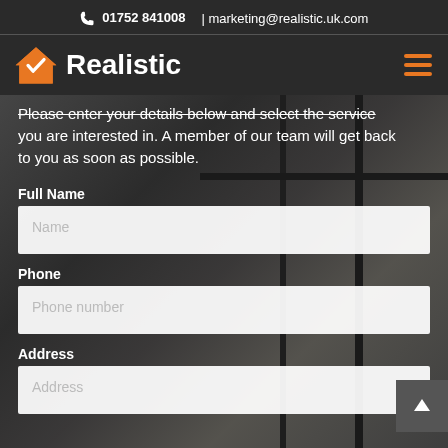📞 01752 841008  |  marketing@realistic.uk.com
[Figure (logo): Realistic company logo — orange house icon with white checkmark, white bold text 'Realistic', hamburger menu icon on the right]
Please enter your details below and select the service you are interested in. A member of our team will get back to you as soon as possible.
Full Name
Name
Phone
Phone number
Address
Address